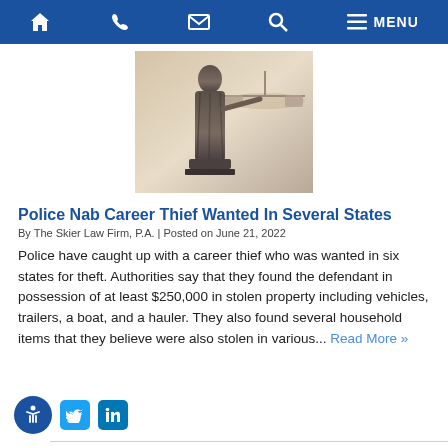Navigation bar with home, phone, email, search, menu icons
[Figure (photo): Photo of Lady Justice statue holding scales, bronze/sepia toned]
Police Nab Career Thief Wanted In Several States
By The Skier Law Firm, P.A. | Posted on June 21, 2022
Police have caught up with a career thief who was wanted in six states for theft. Authorities say that they found the defendant in possession of at least $250,000 in stolen property including vehicles, trailers, a boat, and a hauler. They also found several household items that they believe were also stolen in various... Read More »